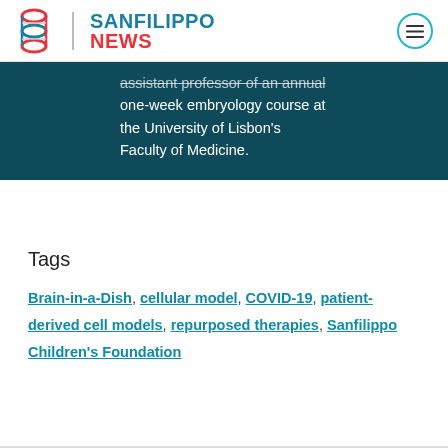SANFILIPPO NEWS
assistant professor of an annual one-week embryology course at the University of Lisbon's Faculty of Medicine.
Tags
Brain-in-a-Dish, cellular model, COVID-19, patient-derived cell models, repurposed therapies, Sanfilippo Children's Foundation